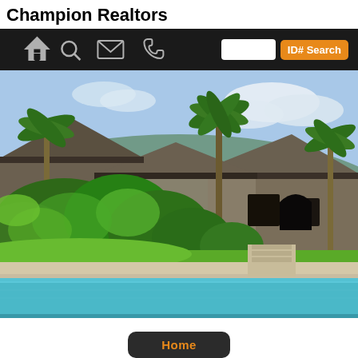Champion Realtors
[Figure (screenshot): Navigation bar with home, search, email, phone icons on the left, and a search input box with orange ID# Search button on the right, on a dark background]
[Figure (photo): Tropical residential property with pool in foreground, lush palm trees and tropical foliage surrounding a multi-gabled house, blue sky with clouds in background]
[Figure (screenshot): Orange-text Home button on dark rounded rectangle background]